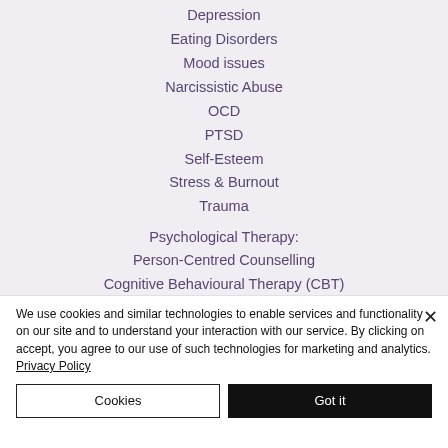Depression
Eating Disorders
Mood issues
Narcissistic Abuse
OCD
PTSD
Self-Esteem
Stress & Burnout
Trauma
Psychological Therapy:
Person-Centred Counselling
Cognitive Behavioural Therapy (CBT)
We use cookies and similar technologies to enable services and functionality on our site and to understand your interaction with our service. By clicking on accept, you agree to our use of such technologies for marketing and analytics. Privacy Policy
Cookies | Got it